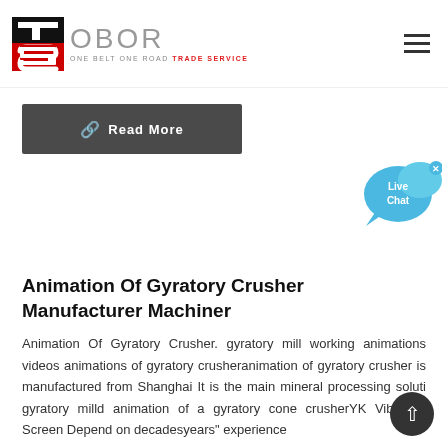[Figure (logo): OBOR Trade Service logo with red/black TS icon and grey OBOR text, tagline ONE BELT ONE ROAD TRADE SERVICE]
[Figure (illustration): Hamburger menu icon (three horizontal lines) in top right corner]
Read More
[Figure (illustration): Live Chat speech bubble icon in blue]
Animation Of Gyratory Crusher Manufacturer Machiner
Animation Of Gyratory Crusher. gyratory mill working animations videos animations of gyratory crusheranimation of gyratory crusher is manufactured from Shanghai It is the main mineral processing soluti gyratory milld animation of a gyratory cone crusherYK Vibrating Screen Depend on decadesyears" experience